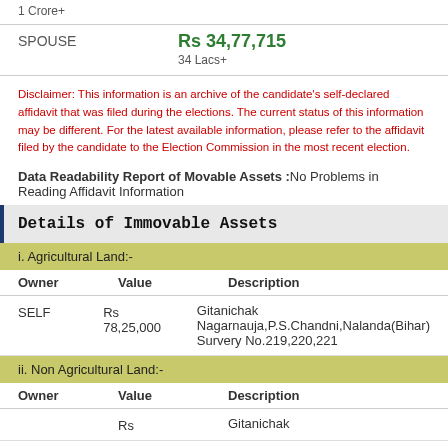1 Crore+
SPOUSE Rs 34,77,715 34 Lacs+
Disclaimer: This information is an archive of the candidate's self-declared affidavit that was filed during the elections. The current status of this information may be different. For the latest available information, please refer to the affidavit filed by the candidate to the Election Commission in the most recent election.
Data Readability Report of Movable Assets :No Problems in Reading Affidavit Information
Details of Immovable Assets
i. Agricultural Land:-
| Owner | Value | Description |
| --- | --- | --- |
| SELF | Rs 78,25,000 | Gitanichak Nagarnauja,P.S.Chandni,Nalanda(Bihar) Survery No.219,220,221 |
ii. Non Agricultural Land:-
| Owner | Value | Description |
| --- | --- | --- |
|  | Rs | Gitanichak |